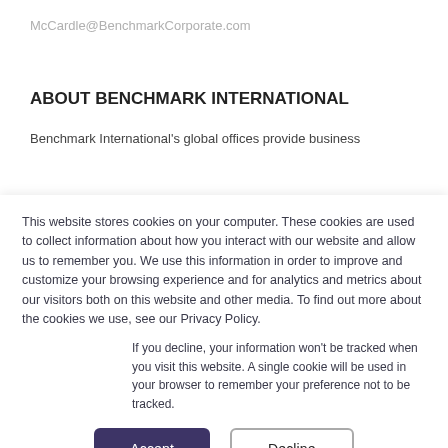McCardle@BenchmarkCorporate.com
ABOUT BENCHMARK INTERNATIONAL
Benchmark International's global offices provide business
This website stores cookies on your computer. These cookies are used to collect information about how you interact with our website and allow us to remember you. We use this information in order to improve and customize your browsing experience and for analytics and metrics about our visitors both on this website and other media. To find out more about the cookies we use, see our Privacy Policy.
If you decline, your information won't be tracked when you visit this website. A single cookie will be used in your browser to remember your preference not to be tracked.
Accept
Decline